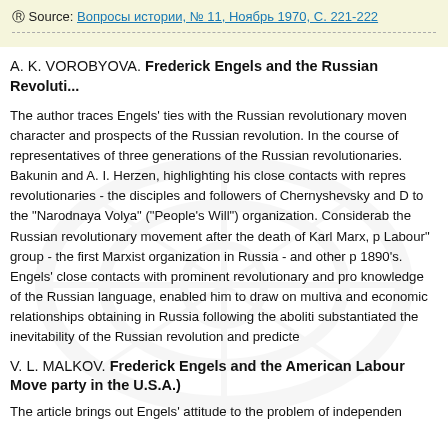© Source: Вопросы истории, № 11, Ноябрь 1970, С. 221-222
A. K. VOROBYOVA. Frederick Engels and the Russian Revoluti...
The author traces Engels' ties with the Russian revolutionary movement, character and prospects of the Russian revolution. In the course of representatives of three generations of the Russian revolutionaries. Bakunin and A. I. Herzen, highlighting his close contacts with repres revolutionaries - the disciples and followers of Chernyshevsky and D to the "Narodnaya Volya" ("People's Will") organization. Considerable the Russian revolutionary movement after the death of Karl Marx, p Labour" group - the first Marxist organization in Russia - and other p 1890's. Engels' close contacts with prominent revolutionary and pro knowledge of the Russian language, enabled him to draw on multiva and economic relationships obtaining in Russia following the aboliti substantiated the inevitability of the Russian revolution and predicte
V. L. MALKOV. Frederick Engels and the American Labour Move party in the U.S.A.)
The article brings out Engels' attitude to the problem of independen